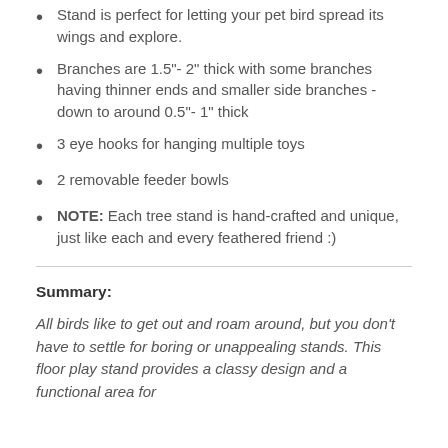Stand is perfect for letting your pet bird spread its wings and explore.
Branches are 1.5"- 2" thick with some branches having thinner ends and smaller side branches - down to around 0.5"- 1" thick
3 eye hooks for hanging multiple toys
2 removable feeder bowls
NOTE: Each tree stand is hand-crafted and unique, just like each and every feathered friend :)
Summary:
All birds like to get out and roam around, but you don't have to settle for boring or unappealing stands. This floor play stand provides a classy design and a functional area for